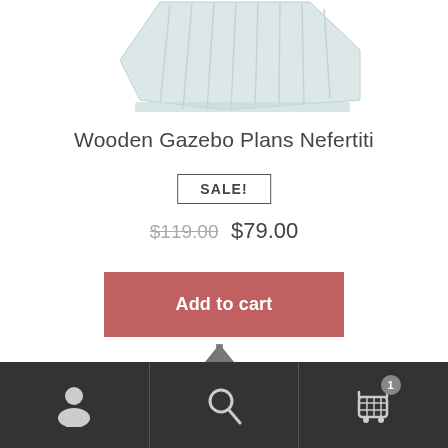[Figure (photo): Partial view of a white wooden gazebo structure from above, octagonal shape, white painted wood paneling]
Wooden Gazebo Plans Nefertiti
SALE!
$119.00  $79.00
Add to cart
[Figure (photo): Partial view of a gazebo roof with a metal finial/spike on top, dark corrugated roofing material visible]
Navigation bar with user icon, search icon, and shopping cart icon with badge showing 1 item